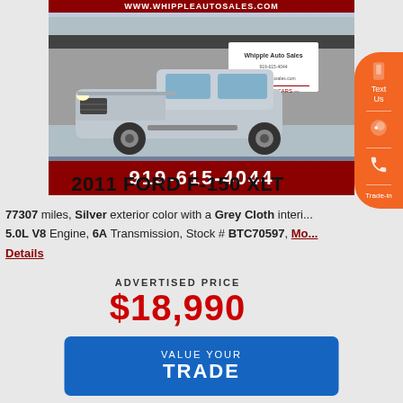[Figure (photo): Silver 2011 Ford F-150 XLT pickup truck parked in front of Whipple Auto Sales dealership. The image shows the truck from a front-left angle. A dark red banner at top reads www.whippleautosales.com and a red banner at bottom reads 919-615-4044.]
2011 FORD F-150 XLT
77307 miles, Silver exterior color with a Grey Cloth interior. 5.0L V8 Engine, 6A Transmission, Stock # BTC70597, More Details
ADVERTISED PRICE
$18,990
VALUE YOUR TRADE